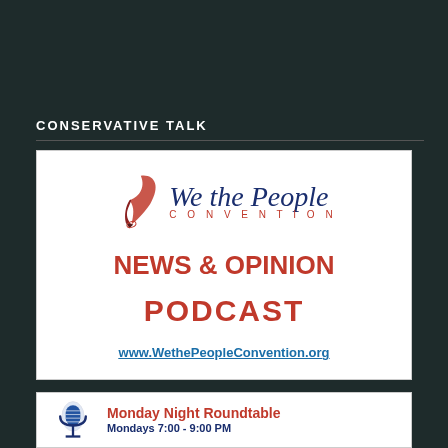CONSERVATIVE TALK
[Figure (logo): We the People Convention News & Opinion Podcast promotional card with quill pen logo, red bold text 'NEWS & OPINION PODCAST', and website URL www.WethePeopleConvention.org]
[Figure (logo): Monday Night Roundtable promotional banner with microphone icon and text 'Monday Night Roundtable']